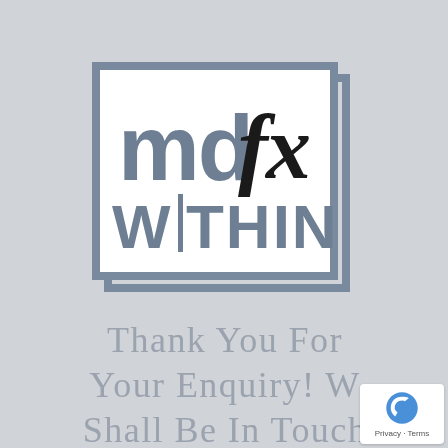[Figure (logo): mdfx WITHIN logo: a rectangular border with two nested offset rectangles (steel blue/grey), containing the text 'md' in large grey sans-serif letters, 'fx' in large black italic letters, and 'WITHIN' in large grey sans-serif letters below, with a vertical bar between W and I]
Thank You For Your Enquiry! We Shall Be In Touch